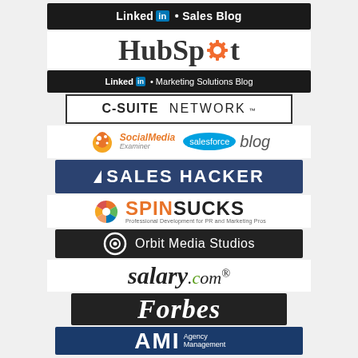[Figure (logo): LinkedIn Sales Blog logo — white text on black background with blue 'in' badge]
[Figure (logo): HubSpot logo in large serif font with orange gear/sprocket replacing the 'o']
[Figure (logo): LinkedIn Marketing Solutions Blog logo — white text on black background with blue 'in' badge]
[Figure (logo): C-SUITE NETWORK™ logo in bordered rectangle]
[Figure (logo): Social Media Examiner logo and Salesforce blog logo side by side]
[Figure (logo): Sales Hacker logo — white text on navy blue background with triangle icon]
[Figure (logo): Spin Sucks logo with colorful pinwheel icon and tagline 'Professional Development for PR and Marketing Pros']
[Figure (logo): Orbit Media Studios logo — white text on dark background with orbit ring icon]
[Figure (logo): salary.com logo in bold italic with green dot in .com]
[Figure (logo): Forbes logo in white italic serif on dark background]
[Figure (logo): AMI Agency Management logo — white text on dark blue background with subtitle text]